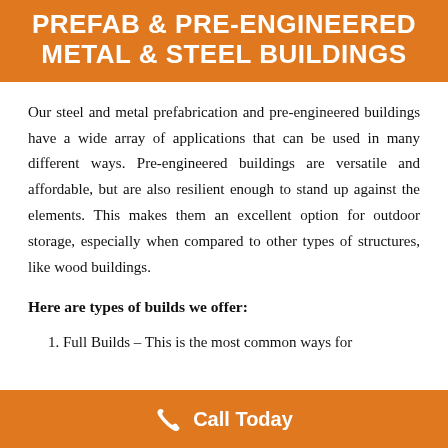PREFAB & PRE-ENGINEERED METAL & STEEL BUILDINGS
Our steel and metal prefabrication and pre-engineered buildings have a wide array of applications that can be used in many different ways. Pre-engineered buildings are versatile and affordable, but are also resilient enough to stand up against the elements. This makes them an excellent option for outdoor storage, especially when compared to other types of structures, like wood buildings.
Here are types of builds we offer:
1. Full Builds – This is the most common ways for
Call Today